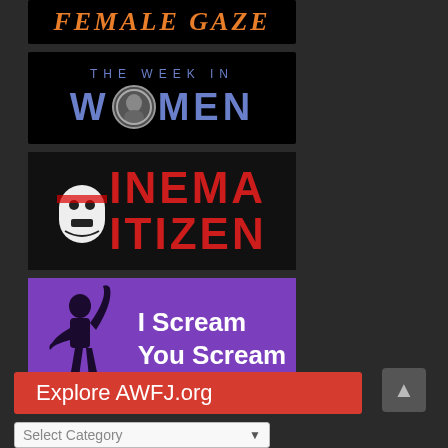[Figure (illustration): Female Gaze banner — orange italic text on black background reading 'FEMALE GAZE']
[Figure (illustration): The Week in Women banner — black background with blue 'THE WEEK IN' text and large blue 'WOMEN' text with a circular portrait inset]
[Figure (illustration): Cinema Citizen banner — dark background with large red bold text 'CINEMA CITIZEN' with a black-and-white face graphic]
[Figure (illustration): I Scream You Scream banner — purple background with silhouette figure and white bold text 'I Scream You Scream']
Explore AWFJ.org
Select Category